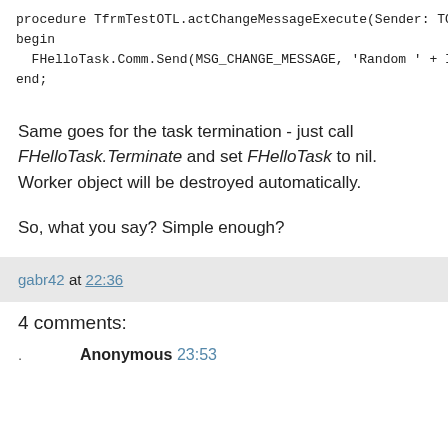procedure TfrmTestOTL.actChangeMessageExecute(Sender: TOb
begin
  FHelloTask.Comm.Send(MSG_CHANGE_MESSAGE, 'Random ' + In
end;
Same goes for the task termination - just call FHelloTask.Terminate and set FHelloTask to nil. Worker object will be destroyed automatically.
So, what you say? Simple enough?
gabr42 at 22:36
4 comments:
Anonymous 23:53